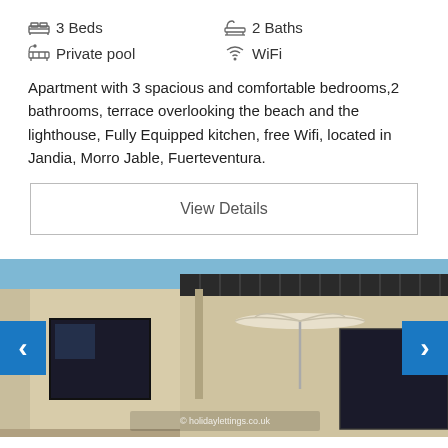🛏 3 Beds
🛁 2 Baths
🏊 Private pool
📶 WiFi
Apartment with 3 spacious and comfortable bedrooms,2 bathrooms, terrace overlooking the beach and the lighthouse, Fully Equipped kitchen, free Wifi, located in Jandia, Morro Jable, Fuerteventura.
View Details
[Figure (photo): Exterior view of a modern flat-roofed apartment building with beige/cream stucco walls, dark window shutters, a white beach umbrella visible on a terrace, and a blue sky background. Navigation arrows visible on left and right edges.]